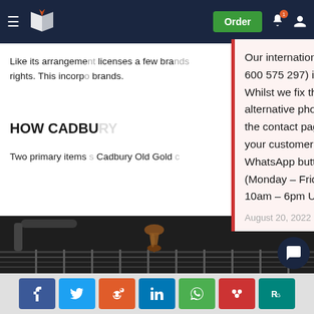[Figure (screenshot): Website header with dark navy background, hamburger menu icon, book/pen logo, Order button in green, notification bell with badge, and user icon]
Like its arrangement licenses a few brands rights. This incorporates brands.
HOW CADBU
Two primary items Cadbury Old Gold
[Figure (other): Popup notification box with pink/red left border saying: Our international phone number (+971 600 575 297) is currently out of service. Whilst we fix this, please use the alternative phone numbers provided on the contact page, message through your customer account or click the WhatsApp button from your mobile (Monday – Friday 9am – 5pm, Saturday 10am – 6pm UK time). August 20, 2022]
[Figure (photo): Chocolate manufacturing machine with chocolate flowing onto a production line, dark industrial setting]
[Figure (other): Social sharing bar with icons: Facebook (blue), Twitter (light blue), Reddit (orange), LinkedIn (blue), WhatsApp (green), Mendeley (red), ResearchGate (teal)]